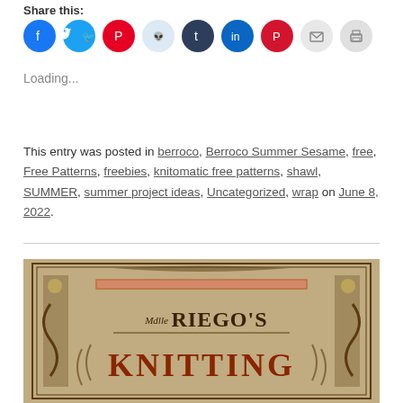Share this:
[Figure (illustration): Row of social media sharing icons: Facebook (blue), Twitter (cyan), Pinterest (red), Reddit (light blue), Tumblr (dark navy), LinkedIn (blue), Pocket (red), Email (gray), Print (gray)]
Loading...
This entry was posted in berroco, Berroco Summer Sesame, free, Free Patterns, freebies, knitomatic free patterns, shawl, SUMMER, summer project ideas, Uncategorized, wrap on June 8, 2022.
[Figure (photo): Vintage decorative book cover showing 'Mdlle Riego's KNITTING' with ornate Victorian scrollwork and typography in brown tones on aged paper background]